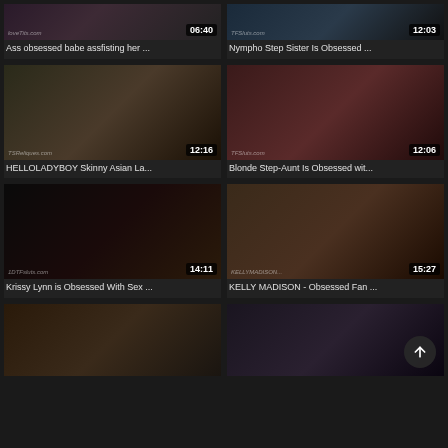[Figure (screenshot): Video thumbnail grid showing adult video titles with duration overlays. Top partial row shows two videos: 'Ass obsessed babe assfisting her ...' (06:40) and 'Nympho Step Sister Is Obsessed ...' (12:03). Second row: 'HELLOLADYBOY Skinny Asian La...' (12:16) and 'Blonde Step-Aunt Is Obsessed wit...' (12:06). Third row: 'Krissy Lynn is Obsessed With Sex ...' (14:11) and 'KELLY MADISON - Obsessed Fan ...' (15:27). Bottom partial row shows two more thumbnails with an upward arrow scroll button overlay on the right one.]